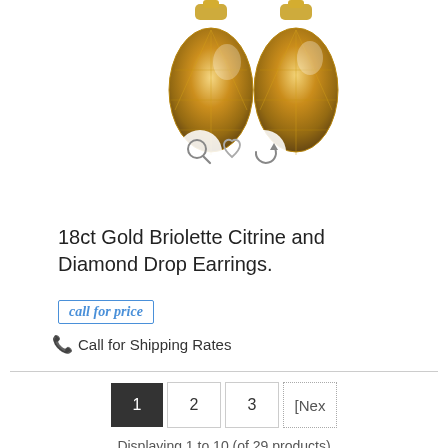[Figure (photo): Two faceted briolette citrine drop earrings with gold caps, with magnify, heart, and refresh icon overlays]
18ct Gold Briolette Citrine and Diamond Drop Earrings.
call for price
Call for Shipping Rates
1 2 3 [Nex
Displaying 1 to 10 (of 29 products)